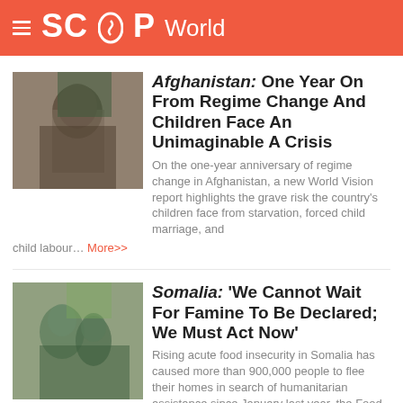SCOOP World
Afghanistan: One Year On From Regime Change And Children Face An Unimaginable A Crisis
On the one-year anniversary of regime change in Afghanistan, a new World Vision report highlights the grave risk the country's children face from starvation, forced child marriage, and child labour… More>>
Somalia: 'We Cannot Wait For Famine To Be Declared; We Must Act Now'
Rising acute food insecurity in Somalia has caused more than 900,000 people to flee their homes in search of humanitarian assistance since January last year, the Food and Agriculture Organization (FAO) has warned… More>>